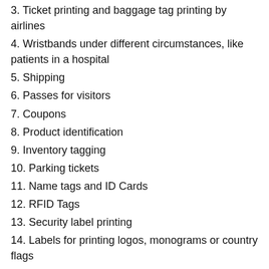3. Ticket printing and baggage tag printing by airlines
4. Wristbands under different circumstances, like patients in a hospital
5. Shipping
6. Passes for visitors
7. Coupons
8. Product identification
9. Inventory tagging
10. Parking tickets
11. Name tags and ID Cards
12. RFID Tags
13. Security label printing
14. Labels for printing logos, monograms or country flags
15. Blockout labels to conceal the information contained within
16. Textile labeling
You could print your own labels, either for home use or for your business use. But, you need to invest in a suitable label printer apart from regular supply of labels.
And, in the case of businesses wanting to do their own large volume label printing, they need to invest in human resources as well apart from equipment and supplies.